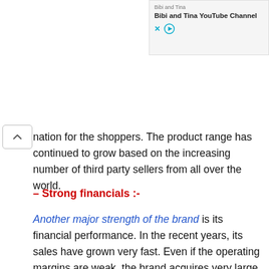[Figure (other): Advertisement bar showing 'Bibi and Tina' YouTube Channel with close and play controls]
nation for the shoppers. The product range has continued to grow based on the increasing number of third party sellers from all over the world.
– Strong financials :-
Another major strength of the brand is its financial performance. In the recent years, its sales have grown very fast. Even if the operating margins are weak, the brand acquires very large sales resulting in high income. Sales grew by more than 40 Billion dollars in 2017 as compared to 2016. Its 2017 net sales touched 177.9 Billion as compared to 136 Billion last year. Net income in the same period grew from 2371 million to 3033